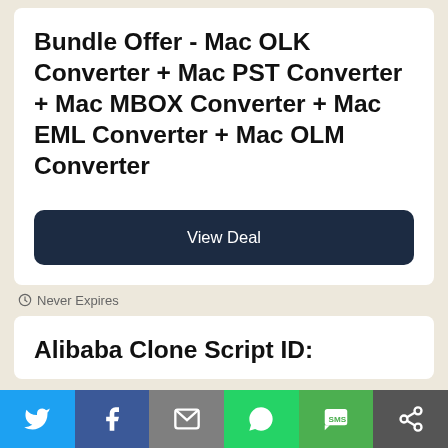Bundle Offer - Mac OLK Converter + Mac PST Converter + Mac MBOX Converter + Mac EML Converter + Mac OLM Converter
View Deal
Never Expires
Alibaba Clone Script ID:
[Figure (infographic): Social sharing bar with icons for Twitter, Facebook, Email, WhatsApp, SMS, and Other (share) buttons]